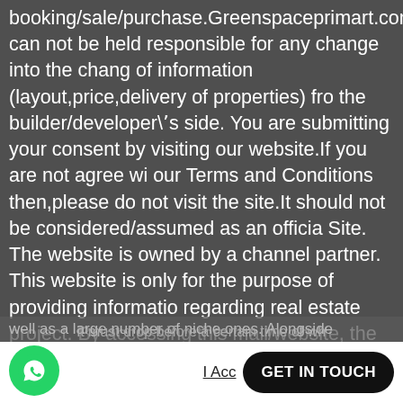booking/sale/purchase.Greenspaceprimart.com cannot not be held responsible for any change into the change of information (layout,price,delivery of properties) from the builder/developer's side. You are submitting your consent by visiting our website.If you are not agree with our Terms and Conditions then,please do not visit the site.It should not be considered/assumed as an official Site. The website is owned by a channel partner. This website is only for the purpose of providing information regarding real estate project. By accessing this mail/website, the viewer confirms that the information including brochures and marketing collaterals on this website is solely for informational purposes and the viewer has not relied on this information for making any booking/purchase in any project of the company.
well as a large number of niche ones. Alongside
I Accept
GET IN TOUCH
it must drop before a certain time of wh...